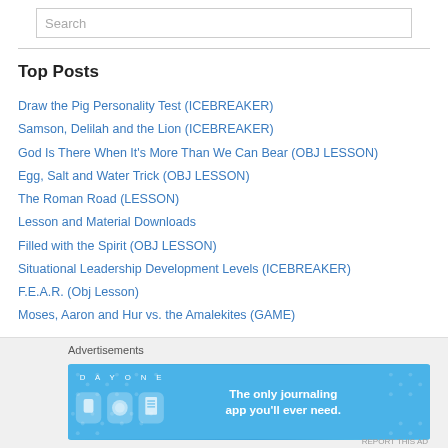Search
Top Posts
Draw the Pig Personality Test (ICEBREAKER)
Samson, Delilah and the Lion (ICEBREAKER)
God Is There When It's More Than We Can Bear (OBJ LESSON)
Egg, Salt and Water Trick (OBJ LESSON)
The Roman Road (LESSON)
Lesson and Material Downloads
Filled with the Spirit (OBJ LESSON)
Situational Leadership Development Levels (ICEBREAKER)
F.E.A.R. (Obj Lesson)
Moses, Aaron and Hur vs. the Amalekites (GAME)
[Figure (screenshot): DAY ONE journaling app advertisement banner with blue background, app icons, and tagline 'The only journaling app you'll ever need.']